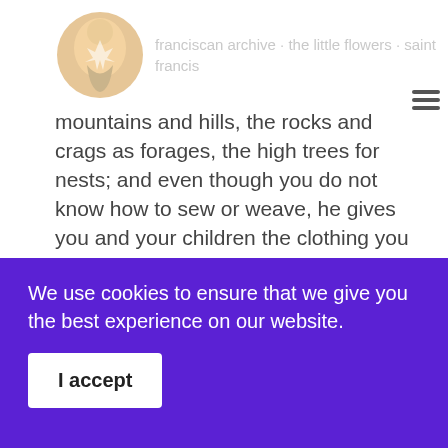mountains and hills, the rocks and crags as forages, the high trees for nests; and even though you do not know how to sew or weave, he gives you and your children the clothing you need. Therefore, your Creator who gave you all these benefits, loves you very much. You be careful, my little birds, don't be ungrateful, but try to praise God always." At these words of the most holy father all those birds began to open their beaks, spread their wings, stretch their necks, and reverently bend their heads to the ground, showing with their singing and movements that the words which the holy father spoke greatly delighted
We use cookies to ensure that we give you the best experience on our website.